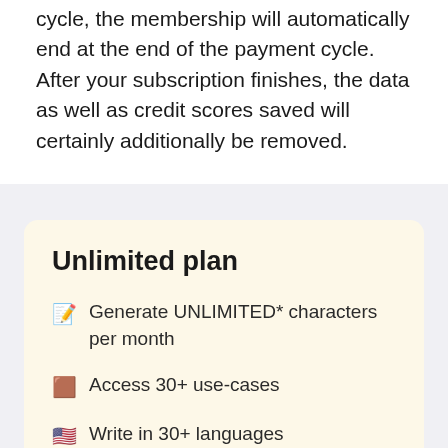cycle, the membership will automatically end at the end of the payment cycle. After your subscription finishes, the data as well as credit scores saved will certainly additionally be removed.
Unlimited plan
Generate UNLIMITED* characters per month
Access 30+ use-cases
Write in 30+ languages